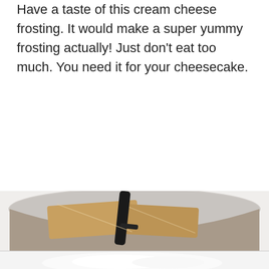Have a taste of this cream cheese frosting. It would make a super yummy frosting actually! Just don't eat too much. You need it for your cheesecake.
[Figure (photo): A mixing bowl containing cream cheese blocks being mixed with a dark spatula, and a view of whipped white cream cheese at the bottom.]